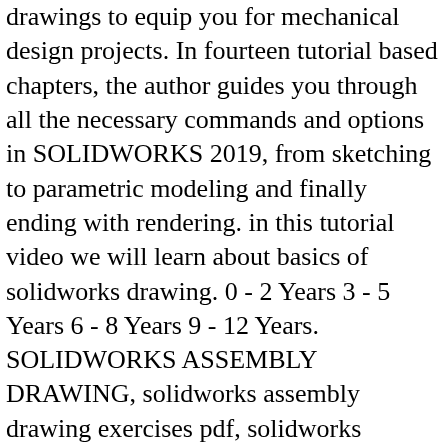drawings to equip you for mechanical design projects. In fourteen tutorial based chapters, the author guides you through all the necessary commands and options in SOLIDWORKS 2019, from sketching to parametric modeling and finally ending with rendering. in this tutorial video we will learn about basics of solidworks drawing. 0 - 2 Years 3 - 5 Years 6 - 8 Years 9 - 12 Years. SOLIDWORKS ASSEMBLY DRAWING, solidworks assembly drawing exercises pdf, solidworks exercises pdf free download, solidworks assembly practice exercises pdf, solidworks exercises pdf download, solidworks tutorial pdf, solidworks tutorial book, solidworks book 2020, solidworks book 2019, SOLIDWORKS Simulation 2018: A Tutorial Approach book has been written to help the users learn the basics of FEA. The book then guides you through topics such